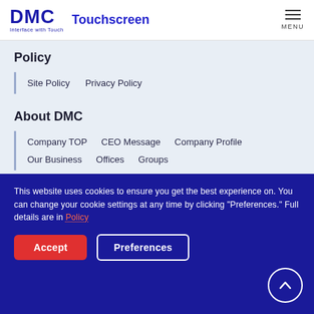DMC Touchscreen Interface with Touch — MENU
Policy
Site Policy   Privacy Policy
About DMC
Company TOP   CEO Message   Company Profile
Our Business   Offices   Groups
This website uses cookies to ensure you get the best experience on. You can change your cookie settings at any time by clicking "Preferences." Full details are in Policy
Accept   Preferences